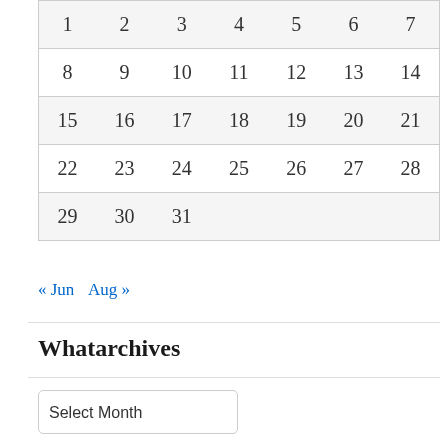| 1 | 2 | 3 | 4 | 5 | 6 | 7 |
| 8 | 9 | 10 | 11 | 12 | 13 | 14 |
| 15 | 16 | 17 | 18 | 19 | 20 | 21 |
| 22 | 23 | 24 | 25 | 26 | 27 | 28 |
| 29 | 30 | 31 |  |  |  |  |
« Jun   Aug »
Whatarchives
Select Month